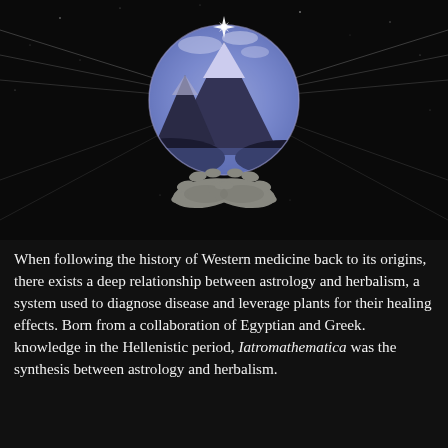[Figure (illustration): Dark space-like background with radiating light rays emanating from a central glowing circle. The circle contains an image of a snow-capped mountain (blue/purple tinted) with a bright star/sparkle at its top edge. Below the circle, two cupped hands are shown as if holding or offering the glowing orb upward. The overall aesthetic is mystical and cosmic.]
When following the history of Western medicine back to its origins, there exists a deep relationship between astrology and herbalism, a system used to diagnose disease and leverage plants for their healing effects. Born from a collaboration of Egyptian and Greek. knowledge in the Hellenistic period, Iatromathematica was the synthesis between astrology and herbalism.